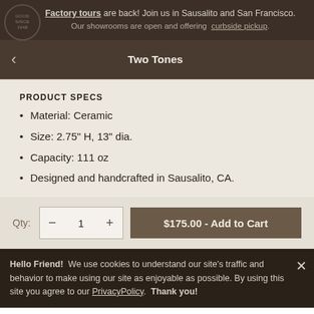Factory tours are back! Join us in Sausalito and San Francisco. Our showrooms are open and offering curbside pickup.
Two Tones
PRODUCT SPECS
Material: Ceramic
Size: 2.75" H, 13" dia.
Capacity: 111 oz
Designed and handcrafted in Sausalito, CA.
Qty:  —  1  +   $175.00 - Add to Cart
Hello Friend!  We use cookies to understand our site's traffic and behavior to make using our site as enjoyable as possible. By using this site you agree to our PrivacyPolicy.  Thank you!